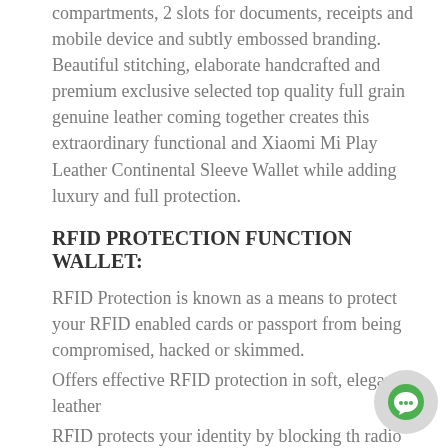compartments, 2 slots for documents, receipts and mobile device and subtly embossed branding. Beautiful stitching, elaborate handcrafted and premium exclusive selected top quality full grain genuine leather coming together creates this extraordinary functional and Xiaomi Mi Play Leather Continental Sleeve Wallet while adding luxury and full protection.
RFID PROTECTION FUNCTION WALLET:
RFID Protection is known as a means to protect your RFID enabled cards or passport from being compromised, hacked or skimmed.
Offers effective RFID protection in soft, elegant leather
RFID protects your identity by blocking the radio frequency tags embedded in credit cards
Credit Card Protector Wallet for Your Bank